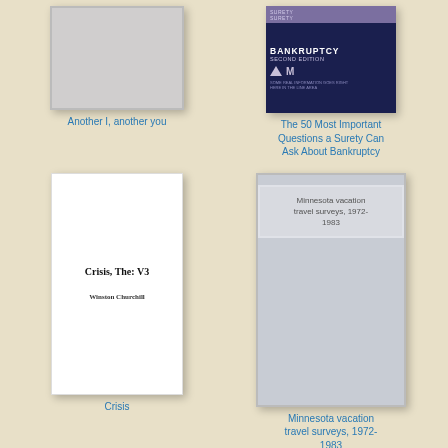[Figure (illustration): Book cover placeholder - gray cover with border]
Another I, another you
[Figure (illustration): Book cover for 'The 50 Most Important Questions a Surety Can Ask About Bankruptcy Second Edition' with purple and navy cover]
The 50 Most Important Questions a Surety Can Ask About Bankruptcy
[Figure (illustration): Book cover for 'Crisis, The: V3' by Winston Churchill - white cover]
Crisis
[Figure (illustration): Book cover placeholder for 'Minnesota vacation travel surveys, 1972-1983' - gray cover]
Minnesota vacation travel surveys, 1972-1983